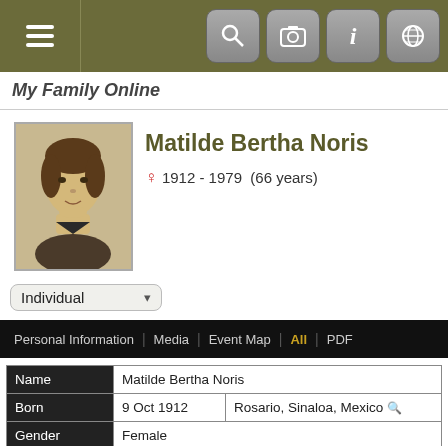My Family Online
Matilde Bertha Noris
♀ 1912 - 1979  (66 years)
| Field | Value1 | Value2 |
| --- | --- | --- |
| Name | Matilde Bertha Noris |  |
| Born | 9 Oct 1912 | Rosario, Sinaloa, Mexico 🔍 |
| Gender | Female |  |
| Died | 1 Aug 1979 | Canoga Park, Los Angeles, California, USA 🔍 |
| Buried | San Fernando Mission Cemetery, Mission Hills, Los Angeles, California, USA 🔍 |  |
|  | Section G, Row 27, Space 111 |  |